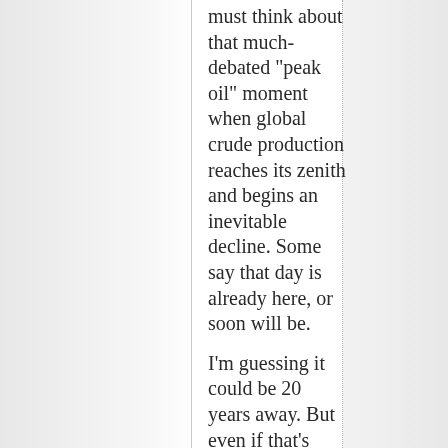must think about that much-debated "peak oil" moment when global crude production reaches its zenith and begins an inevitable decline. Some say that day is already here, or soon will be.

I'm guessing it could be 20 years away. But even if that's